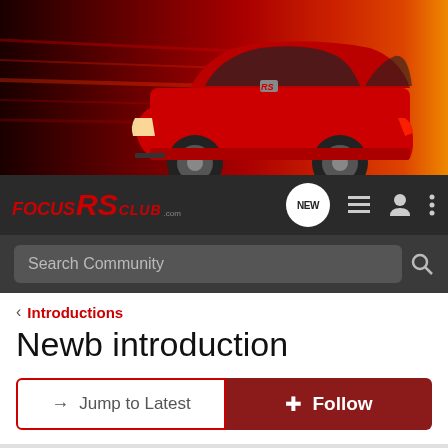[Figure (photo): Red Ford Focus RS car speeding with motion blur background banner image]
FocusRS Club .com — NEW — navigation icons
Search Community
< Introductions
Newb introduction
→ Jump to Latest
+ Follow
1 - 4 of 4 Posts
FocusRacer · New member
Joined Oct 23, 2016 · 3 Posts